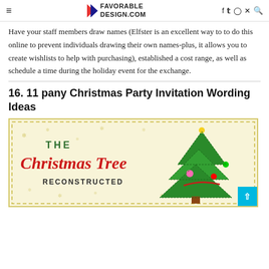FAVORABLE DESIGN.COM
Have your staff members draw names (Elfster is an excellent way to to do this online to prevent individuals drawing their own names-plus, it allows you to create wishlists to help with purchasing), established a cost range, as well as schedule a time during the holiday event for the exchange.
16. 11 pany Christmas Party Invitation Wording Ideas
[Figure (infographic): Infographic with cream/yellow background showing 'THE Christmas Tree RECONSTRUCTED' text with a cartoon green Christmas tree illustration on the right side]